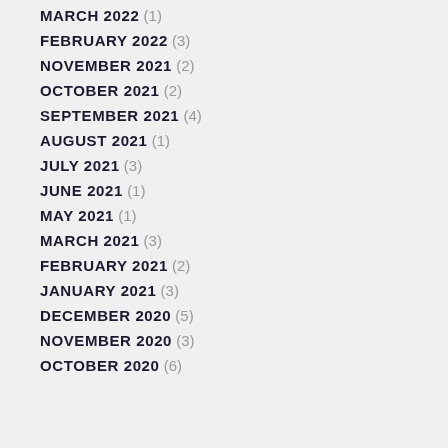MARCH 2022 (1)
FEBRUARY 2022 (3)
NOVEMBER 2021 (2)
OCTOBER 2021 (2)
SEPTEMBER 2021 (4)
AUGUST 2021 (1)
JULY 2021 (3)
JUNE 2021 (1)
MAY 2021 (1)
MARCH 2021 (3)
FEBRUARY 2021 (2)
JANUARY 2021 (3)
DECEMBER 2020 (5)
NOVEMBER 2020 (3)
OCTOBER 2020 (6)